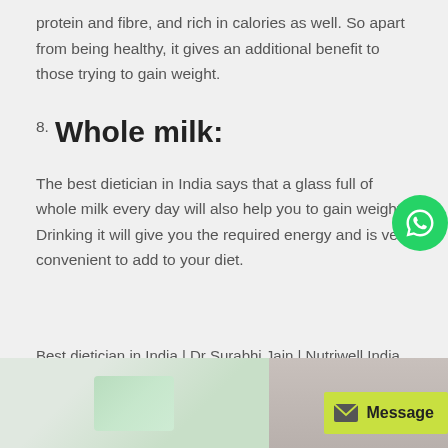protein and fibre, and rich in calories as well. So apart from being healthy, it gives an additional benefit to those trying to gain weight.
8. Whole milk:
The best dietician in India says that a glass full of whole milk every day will also help you to gain weight. Drinking it will give you the required energy and is very convenient to add to your diet.
Best dietician in India | Dr Surabhi Jain | Nutriwell India
[Figure (photo): Photo strip at the bottom of the page showing a person, partially visible, with a green/teal accent element.]